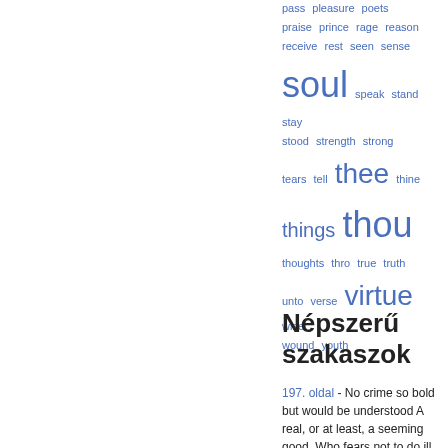[Figure (other): Word cloud with blue text showing various words in different sizes: pass, pleasure, poets, praise, prince, rage, reason, receive, rest, seen, sense, soul (large), speak, stand, stay, stood, strength, strong, tears, tell, thee (large), thine, things (medium-large), thou (largest), thoughts, thro, true, truth, unto, verse, virtue (large), wise, wound, youth]
Népszerű szakaszok
197. oldal - No crime so bold but would be understood A real, or at least, a seeming good. Who fears not to do ill,